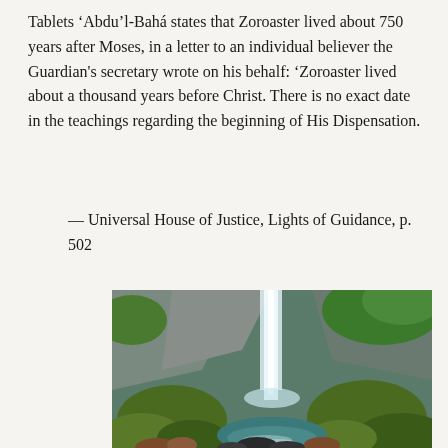Tablets 'Abdu'l-Bahá states that Zoroaster lived about 750 years after Moses, in a letter to an individual believer the Guardian's secretary wrote on his behalf: 'Zoroaster lived about a thousand years before Christ. There is no exact date in the teachings regarding the beginning of His Dispensation.
— Universal House of Justice, Lights of Guidance, p. 502
[Figure (photo): A scenic waterfall cascading down rocky cliffs surrounded by lush green moss-covered rocks and trees, with a stream flowing in the foreground.]